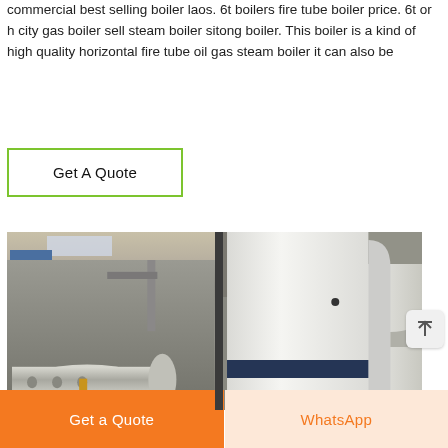commercial best selling boiler laos. 6t boilers fire tube boiler price. 6t or h city gas boiler sell steam boiler sitong boiler. This boiler is a kind of high quality horizontal fire tube oil gas steam boiler it can also be
Get A Quote
[Figure (photo): Industrial boiler equipment in a factory/warehouse setting. Left panel shows a horizontal cylindrical boiler with blue component and yellow stand. Right panel shows a large white vertical boiler unit with dark stripe branding.]
Get a Quote
WhatsApp